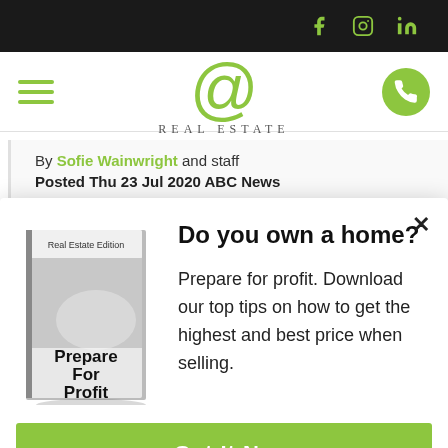Real Estate @ — website header with social icons (Facebook, Instagram, LinkedIn), hamburger menu, logo, and phone button
By Sofie Wainwright and staff
Posted Thu 23 Jul 2020 ABC News
Do you own a home?
[Figure (illustration): Book cover titled 'Prepare For Profit' with 'Real Estate Edition' label at top]
Prepare for profit. Download our top tips on how to get the highest and best price when selling.
Get It No[w]
Contact